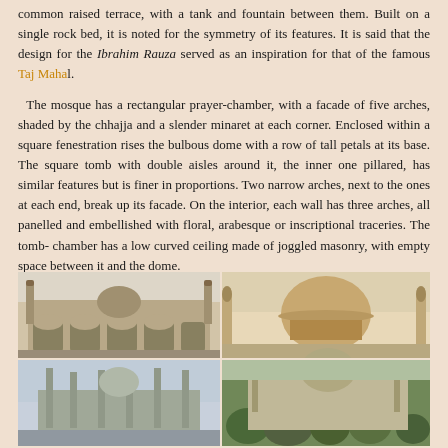common raised terrace, with a tank and fountain between them. Built on a single rock bed, it is noted for the symmetry of its features. It is said that the design for the Ibrahim Rauza served as an inspiration for that of the famous Taj Mahal.
The mosque has a rectangular prayer-chamber, with a facade of five arches, shaded by the chhajja and a slender minaret at each corner. Enclosed within a square fenestration rises the bulbous dome with a row of tall petals at its base. The square tomb with double aisles around it, the inner one pillared, has similar features but is finer in proportions. Two narrow arches, next to the ones at each end, break up its facade. On the interior, each wall has three arches, all panelled and embellished with floral, arabesque or inscriptional traceries. The tomb-chamber has a low curved ceiling made of joggled masonry, with empty space between it and the dome.
Photo Gallery:
[Figure (photo): Photo gallery of Ibrahim Rauza showing four images: mosque front facade with arches and minarets (top-left), dome and minarets close-up at golden hour (top-right), wide view of the complex with minarets against sky (bottom-left), garden/landscape view with hedges and dome (bottom-right)]